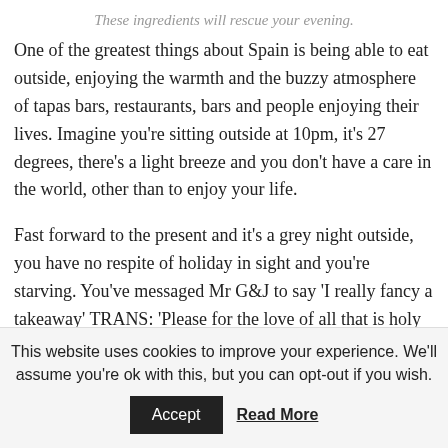These ingredients will rescue your evening.
One of the greatest things about Spain is being able to eat outside, enjoying the warmth and the buzzy atmosphere of tapas bars, restaurants, bars and people enjoying their lives. Imagine you're sitting outside at 10pm, it's 27 degrees, there's a light breeze and you don't have a care in the world, other than to enjoy your life.
Fast forward to the present and it's a grey night outside, you have no respite of holiday in sight and you're starving. You've messaged Mr G&J to say 'I really fancy a takeaway' TRANS: 'Please for the love of all that is holy
This website uses cookies to improve your experience. We'll assume you're ok with this, but you can opt-out if you wish.